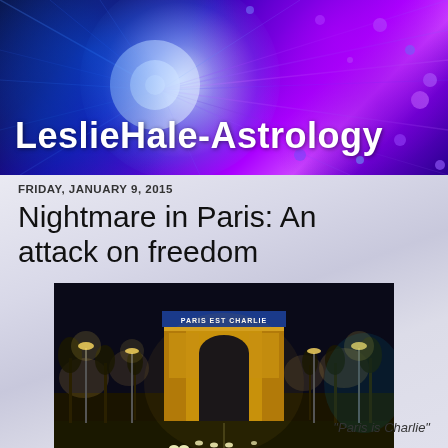LeslieHale-Astrology
FRIDAY, JANUARY 9, 2015
Nightmare in Paris: An attack on freedom
[Figure (photo): Night photo of the Arc de Triomphe in Paris illuminated in gold/yellow with 'PARIS EST CHARLIE' displayed in blue text on the facade, with traffic on the Champs-Élysées in the foreground]
"Paris is Charlie"